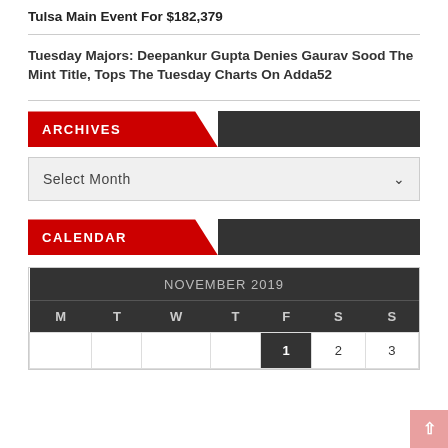Tulsa Main Event For $182,379
Tuesday Majors: Deepankur Gupta Denies Gaurav Sood The Mint Title, Tops The Tuesday Charts On Adda52
ARCHIVES
Select Month
CALENDAR
| M | T | W | T | F | S | S |
| --- | --- | --- | --- | --- | --- | --- |
|  |  |  |  | 1 | 2 | 3 |